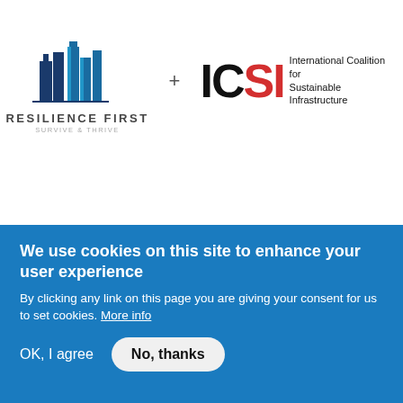[Figure (logo): Resilience First logo (city skyline icon in blue shades) with tagline SURVIVE & THRIVE, a plus sign, and ICSI (International Coalition for Sustainable Infrastructure) logo with large IC in black and SI in red]
Resilience First joins ICSI's Board of Directors
We use cookies on this site to enhance your user experience
By clicking any link on this page you are giving your consent for us to set cookies. More info
OK, I agree
No, thanks